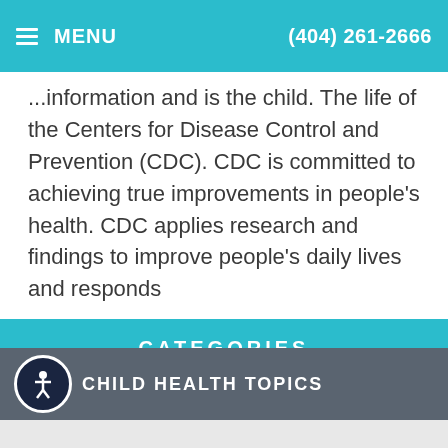MENU  (404) 261-2666
...information and is the child. The life of the Centers for Disease Control and Prevention (CDC). CDC is committed to achieving true improvements in people's health. CDC applies research and findings to improve people's daily lives and responds
READ MORE
CATEGORIES
CHILD HEALTH TOPICS